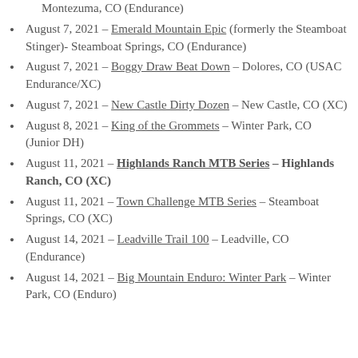Montezuma, CO (Endurance)
August 7, 2021 – Emerald Mountain Epic (formerly the Steamboat Stinger)- Steamboat Springs, CO (Endurance)
August 7, 2021 – Boggy Draw Beat Down – Dolores, CO (USAC Endurance/XC)
August 7, 2021 – New Castle Dirty Dozen – New Castle, CO (XC)
August 8, 2021 – King of the Grommets – Winter Park, CO (Junior DH)
August 11, 2021 – Highlands Ranch MTB Series – Highlands Ranch, CO (XC)
August 11, 2021 – Town Challenge MTB Series – Steamboat Springs, CO (XC)
August 14, 2021 – Leadville Trail 100 – Leadville, CO (Endurance)
August 14, 2021 – Big Mountain Enduro: Winter Park – Winter Park, CO (Enduro)